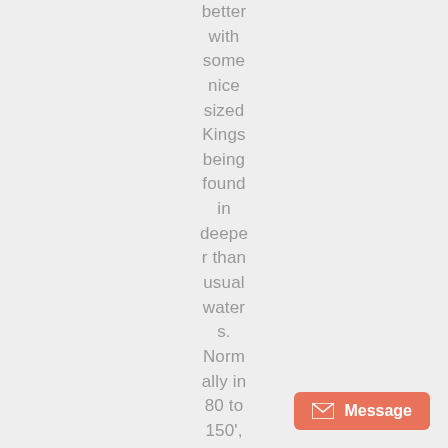better with some nice sized Kings being found in deeper than usual waters. Normally in 80 to 150', we've been catching 10-
[Figure (other): Orange message button with envelope icon in bottom right corner]